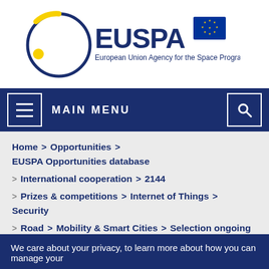[Figure (logo): EUSPA logo — circular orbit ring in dark blue with yellow accent dot and arc, bold 'EUSPA' text in dark blue, EU flag icon, tagline: European Union Agency for the Space Programme]
Home > Opportunities > EUSPA Opportunities database
> International cooperation > 2144
> Prizes & competitions > Internet of Things > Security
> Road > Mobility & Smart Cities > Selection ongoing
> Agriculture > 2143
We care about your privacy, to learn more about how you can manage your